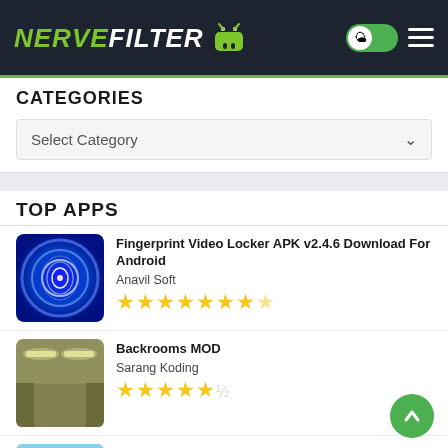NERVEFILTER
CATEGORIES
Select Category
TOP APPS
Fingerprint Video Locker APK v2.4.6 Download For Android
Anavil Soft
★★★★★★★☆
Backrooms MOD
Sarang Koding
★★★★★☆
Haileys Treasure Adventure APK v0.5.2 (MOD) Download